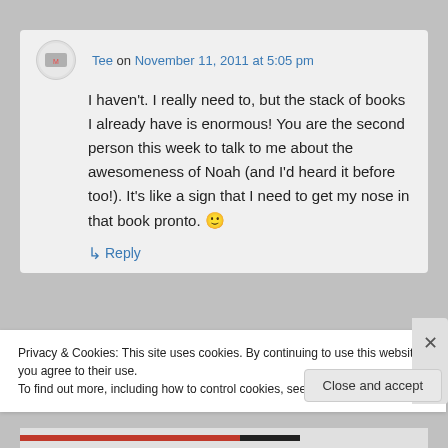Tee on November 11, 2011 at 5:05 pm
I haven't. I really need to, but the stack of books I already have is enormous! You are the second person this week to talk to me about the awesomeness of Noah (and I'd heard it before too!). It's like a sign that I need to get my nose in that book pronto. 🙂
↳ Reply
Privacy & Cookies: This site uses cookies. By continuing to use this website, you agree to their use.
To find out more, including how to control cookies, see here: Cookie Policy
Close and accept